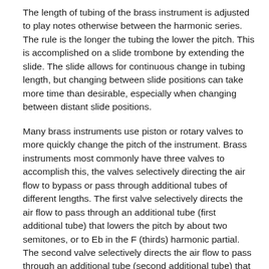The length of tubing of the brass instrument is adjusted to play notes otherwise between the harmonic series. The rule is the longer the tubing the lower the pitch. This is accomplished on a slide trombone by extending the slide. The slide allows for continuous change in tubing length, but changing between slide positions can take more time than desirable, especially when changing between distant slide positions.
Many brass instruments use piston or rotary valves to more quickly change the pitch of the instrument. Brass instruments most commonly have three valves to accomplish this, the valves selectively directing the air flow to bypass or pass through additional tubes of different lengths. The first valve selectively directs the air flow to pass through an additional tube (first additional tube) that lowers the pitch by about two semitones, or to Eb in the F (thirds) harmonic partial. The second valve selectively directs the air flow to pass through an additional tube (second additional tube) that lowers the pitch by about one semitone, or to E in the F (thirds) harmonic partial. The third valve selectively directs the air flow to pass through an additional tube (third valve